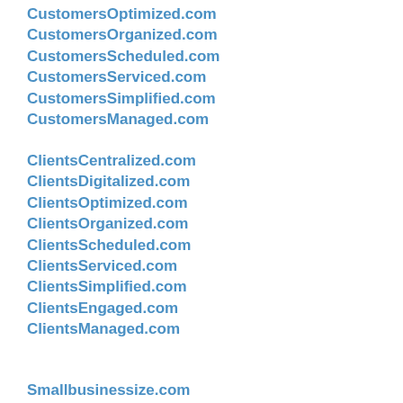CustomersOptimized.com
CustomersOrganized.com
CustomersScheduled.com
CustomersServiced.com
CustomersSimplified.com
CustomersManaged.com
ClientsCentralized.com
ClientsDigitalized.com
ClientsOptimized.com
ClientsOrganized.com
ClientsScheduled.com
ClientsServiced.com
ClientsSimplified.com
ClientsEngaged.com
ClientsManaged.com
Smallbusinessize.com
Smallbusinessizze.com